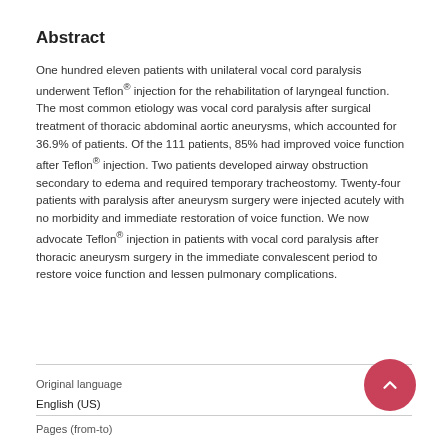Abstract
One hundred eleven patients with unilateral vocal cord paralysis underwent Teflon® injection for the rehabilitation of laryngeal function. The most common etiology was vocal cord paralysis after surgical treatment of thoracic abdominal aortic aneurysms, which accounted for 36.9% of patients. Of the 111 patients, 85% had improved voice function after Teflon® injection. Two patients developed airway obstruction secondary to edema and required temporary tracheostomy. Twenty-four patients with paralysis after aneurysm surgery were injected acutely with no morbidity and immediate restoration of voice function. We now advocate Teflon® injection in patients with vocal cord paralysis after thoracic aneurysm surgery in the immediate convalescent period to restore voice function and lessen pulmonary complications.
| Original language |  |
| English (US) |  |
| Pages (from-to) |  |